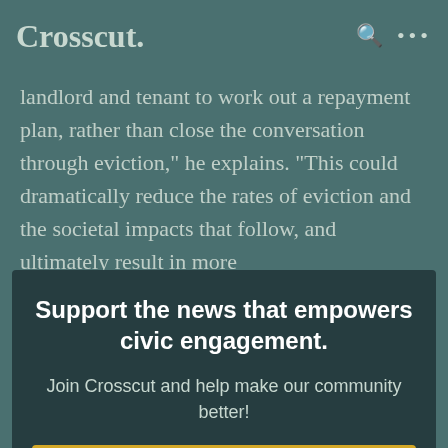Crosscut.
landlord and tenant to work out a repayment plan, rather than close the conversation through eviction," he explains. "This could dramatically reduce the rates of eviction and the societal impacts that follow, and ultimately result in more
Support the news that empowers civic engagement.
Join Crosscut and help make our community better!
JOIN NOW
Still, an influx of landlord-tenant disputes will test be crisis without a clear accounting of debt and for landlords, there won't be a clean portion of employment, payments will